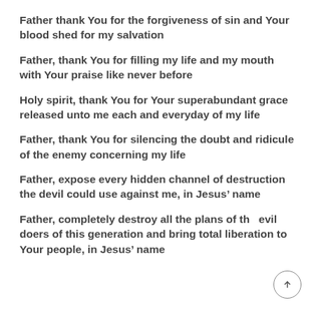Father thank You for the forgiveness of sin and Your blood shed for my salvation
Father, thank You for filling my life and my mouth with Your praise like never before
Holy spirit, thank You for Your superabundant grace released unto me each and everyday of my life
Father, thank You for silencing the doubt and ridicule of the enemy concerning my life
Father, expose every hidden channel of destruction the devil could use against me, in Jesus’ name
Father, completely destroy all the plans of the evil doers of this generation and bring total liberation to Your people, in Jesus’ name